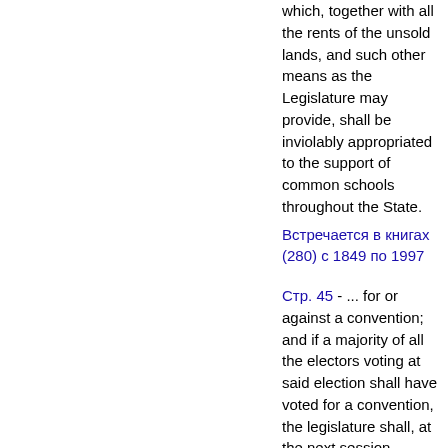which, together with all the rents of the unsold lands, and such other means as the Legislature may provide, shall be inviolably appropriated to the support of common schools throughout the State.
Встречается в книгах (280) с 1849 по 1997
Стр. 45 - ... for or against a convention; and if a majority of all the electors voting at said election shall have voted for a convention, the legislature shall, at the next session, provide by law...
Встречается в книгах (324) с 1836 по 2006